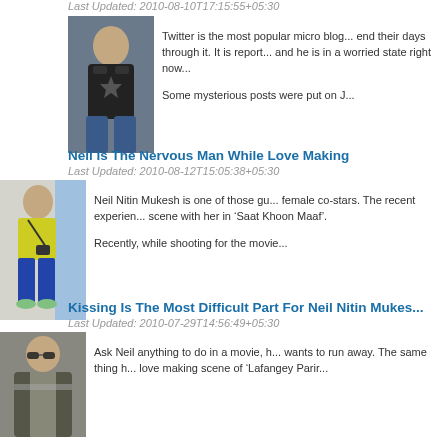Last Updated: 2010-08-10T17:15:55+05:30
[Figure (photo): Man in black t-shirt standing]
Twitter is the most popular micro blog... end their days through it. It is reported... and he is in a worried state right now...
Some mysterious posts were put on...
Neil Is The Nervous Man While Love Making
Last Updated: 2010-08-12T15:05:38+05:30
[Figure (photo): Man in yellow shirt sitting]
Neil Nitin Mukesh is one of those gu... female co-stars. The recent experien... scene with her in 'Saat Khoon Maaf'.
Recently, while shooting for the movie...
Kissing Is The Most Difficult Part For Neil Nitin Mukes...
Last Updated: 2010-07-29T14:56:49+05:30
[Figure (photo): Man in sunglasses and jacket]
Ask Neil anything to do in a movie, h... wants to run away. The same thing h... love making scene of 'Lafangey Parir...